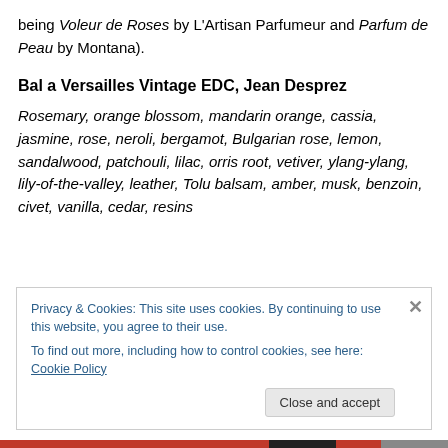being Voleur de Roses by L'Artisan Parfumeur and Parfum de Peau by Montana).
Bal a Versailles Vintage EDC, Jean Desprez
Rosemary, orange blossom, mandarin orange, cassia, jasmine, rose, neroli, bergamot, Bulgarian rose, lemon, sandalwood, patchouli, lilac, orris root, vetiver, ylang-ylang, lily-of-the-valley, leather, Tolu balsam, amber, musk, benzoin, civet, vanilla, cedar, resins
Privacy & Cookies: This site uses cookies. By continuing to use this website, you agree to their use.
To find out more, including how to control cookies, see here: Cookie Policy